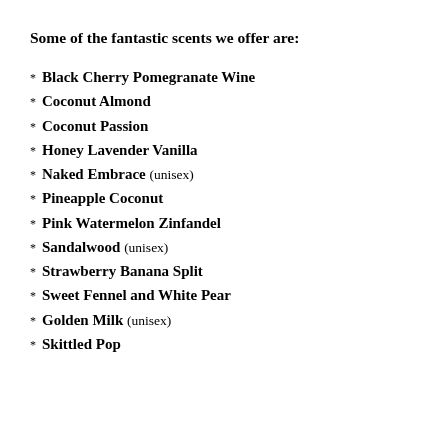Some of the fantastic scents we offer are:
Black Cherry Pomegranate Wine
Coconut Almond
Coconut Passion
Honey Lavender Vanilla
Naked Embrace (unisex)
Pineapple Coconut
Pink Watermelon Zinfandel
Sandalwood (unisex)
Strawberry Banana Split
Sweet Fennel and White Pear
Golden Milk (unisex)
Skittled Pop